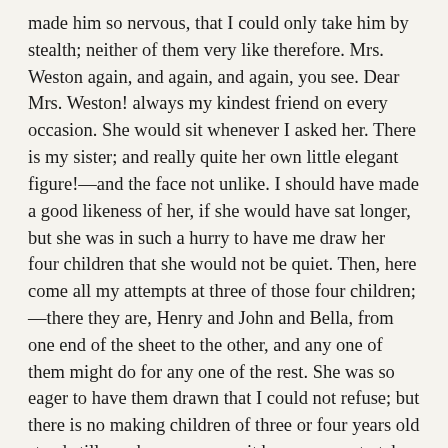made him so nervous, that I could only take him by stealth; neither of them very like therefore. Mrs. Weston again, and again, and again, you see. Dear Mrs. Weston! always my kindest friend on every occasion. She would sit whenever I asked her. There is my sister; and really quite her own little elegant figure!—and the face not unlike. I should have made a good likeness of her, if she would have sat longer, but she was in such a hurry to have me draw her four children that she would not be quiet. Then, here come all my attempts at three of those four children;—there they are, Henry and John and Bella, from one end of the sheet to the other, and any one of them might do for any one of the rest. She was so eager to have them drawn that I could not refuse; but there is no making children of three or four years old stand still you know; nor can it be very easy to take any likeness of them, beyond the air and complexion, unless they are coarser featured than any of mama's children ever were. Here is my sketch of the fourth, who was a baby. I took him as he was sleeping on the sofa, and it is as strong a likeness of his cockade as you would wish to see. He had nestled down his head most conveniently. That's very like. I am rather proud of little George,